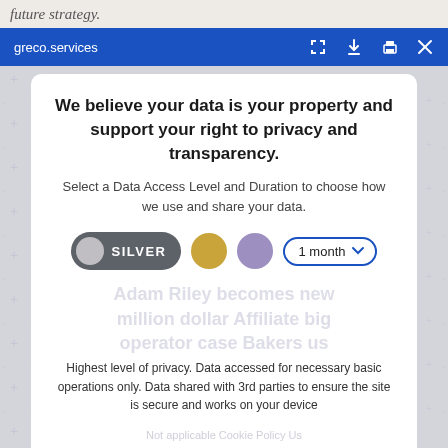future strategy.
greco.services
We believe your data is your property and support your right to privacy and transparency.
Select a Data Access Level and Duration to choose how we use and share your data.
[Figure (screenshot): Privacy preference modal with SILVER tier selected, gold and purple circle options, 1 month dropdown, description text, Save my preferences button, Customize and Privacy policy links]
Highest level of privacy. Data accessed for necessary basic operations only. Data shared with 3rd parties to ensure the site is secure and works on your device
Save my preferences
Customize
Privacy policy